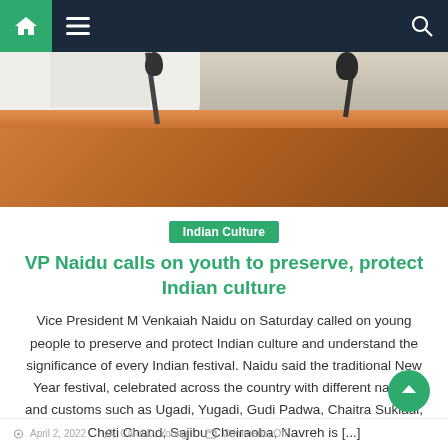Navigation bar with home, menu, and search icons
[Figure (photo): Photo of a person at a wooden podium with microphones, wearing white clothing, speaking at an event]
Indian Culture
VP Naidu calls on youth to preserve, protect Indian culture
Vice President M Venkaiah Naidu on Saturday called on young people to preserve and protect Indian culture and understand the significance of every Indian festival. Naidu said the traditional New Year festival, celebrated across the country with different names and customs such as Ugadi, Yugadi, Gudi Padwa, Chaitra Sukladi, Cheti Chand, Sajibu Cheiraoba, Navreh is [...]
April 2, 2022  Carol D. Young  Comments Off